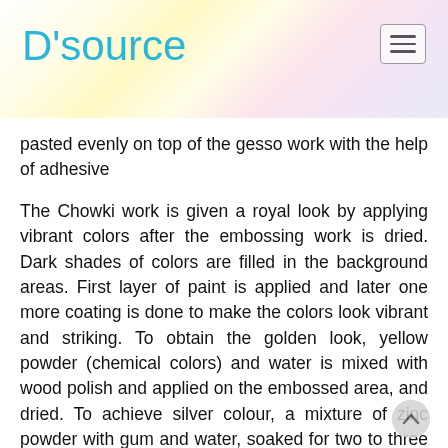D'source
pasted evenly on top of the gesso work with the help of adhesive
The Chowki work is given a royal look by applying vibrant colors after the embossing work is dried. Dark shades of colors are filled in the background areas. First layer of paint is applied and later one more coating is done to make the colors look vibrant and striking. To obtain the golden look, yellow powder (chemical colors) and water is mixed with wood polish and applied on the embossed area, and dried. To achieve silver colour, a mixture of zinc powder with gum and water, soaked for two to three hours is applied. Thavra work, which is the design made around the center of the slab. These natural paints lasts for long time and retains its charm. After all the process, the article is dried under direct sunlight. Thavra work is